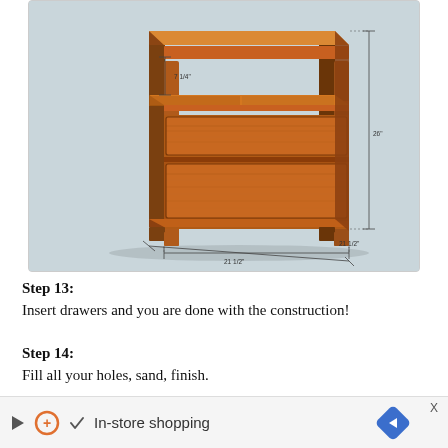[Figure (engineering-diagram): 3D perspective rendering of a wooden end table/nightstand with two drawers, an upper open shelf, and dimension annotations showing 7 1/4" shelf depth, 26" height, 21 1/2" width and depth measurements. The table is made of walnut-colored wood.]
Step 13:
Insert drawers and you are done with the construction!
Step 14:
Fill all your holes, sand, finish.
Our first finished end table was submitted by Tim - He used an oiled walnut finish with a solid walnut frame and walnut veneer